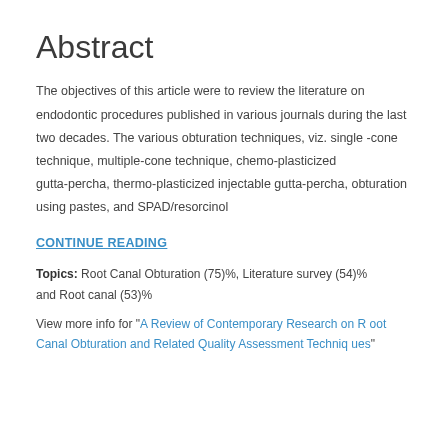Abstract
The objectives of this article were to review the literature on endodontic procedures published in various journals during the last two decades. The various obturation techniques, viz. single -cone technique, multiple-cone technique, chemo-plasticized gutta-percha, thermo-plasticized injectable gutta-percha, obturation using pastes, and SPAD/resorcinol
CONTINUE READING
Topics: Root Canal Obturation (75)%, Literature survey (54)% and Root canal (53)%
View more info for "A Review of Contemporary Research on Root Canal Obturation and Related Quality Assessment Techniques"